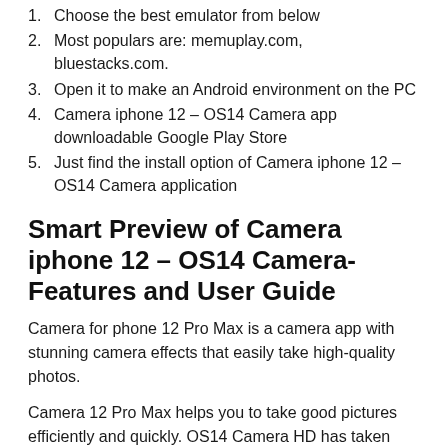1. Choose the best emulator from below
2. Most populars are: memuplay.com, bluestacks.com.
3. Open it to make an Android environment on the PC
4. Camera iphone 12 – OS14 Camera app downloadable Google Play Store
5. Just find the install option of Camera iphone 12 – OS14 Camera application
Smart Preview of Camera iphone 12 – OS14 Camera- Features and User Guide
Camera for phone 12 Pro Max is a camera app with stunning camera effects that easily take high-quality photos.
Camera 12 Pro Max helps you to take good pictures efficiently and quickly. OS14 Camera HD has taken advantage of all your phone advantages and improved OS14 Camera HD Pro Max with the best professional die degrees!